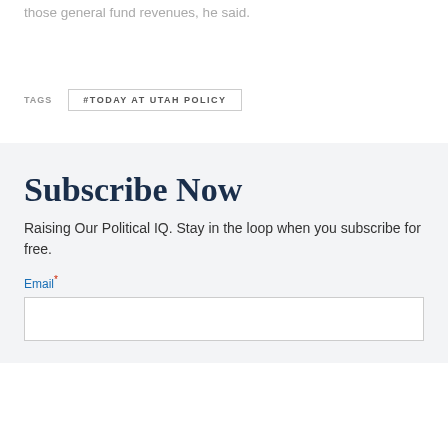those general fund revenues, he said.
TAGS
#TODAY AT UTAH POLICY
Subscribe Now
Raising Our Political IQ. Stay in the loop when you subscribe for free.
Email*